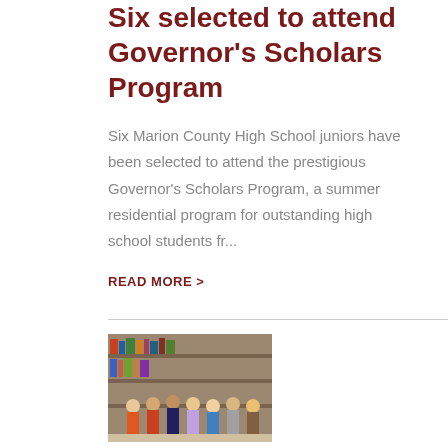Six selected to attend Governor's Scholars Program
Six Marion County High School juniors have been selected to attend the prestigious Governor's Scholars Program, a summer residential program for outstanding high school students fr...
READ MORE >
[Figure (photo): Group photo of students standing in a library or school setting]
Six Students Selected for GSP